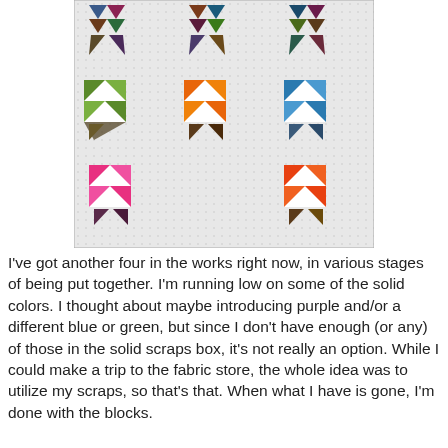[Figure (photo): Photograph of colorful quilt blocks arranged on a white grid background. The blocks feature half-square triangle patterns in various solid colors (green, orange, blue, pink, multi-color scrappy fabrics) arranged to look like flying geese or pinwheel quilt blocks. The blocks are arranged in a 3x3 grid with two blocks in the bottom row.]
I've got another four in the works right now, in various stages of being put together.  I'm running low on some of the solid colors.  I thought about maybe introducing purple and/or a different blue or green, but since I don't have enough (or any) of those in the solid scraps box, it's not really an option.  While I could make a trip to the fabric store, the whole idea was to utilize my scraps, so that's that.  When what I have is gone, I'm done with the blocks.